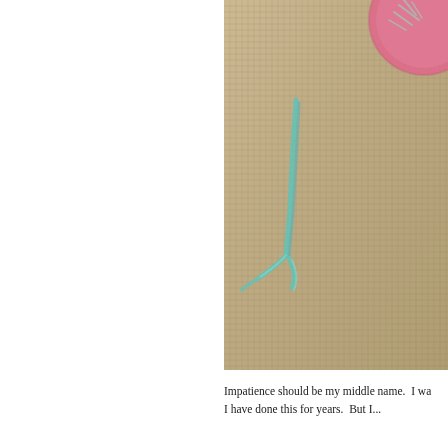[Figure (photo): Close-up photograph of burlap fabric with turquoise/teal embroidery stitches forming a stem-like shape, with a pink felt flower visible in the upper right corner partially cropped.]
Impatience should be my middle name.  I wa... I have done this for years.  But I...